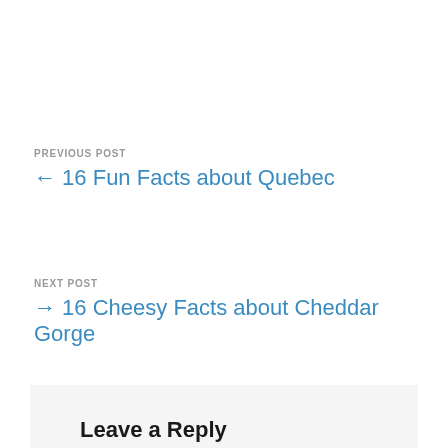PREVIOUS POST
← 16 Fun Facts about Quebec
NEXT POST
→ 16 Cheesy Facts about Cheddar Gorge
Leave a Reply